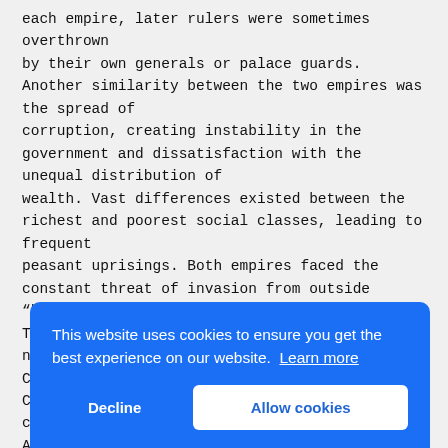each empire, later rulers were sometimes overthrown by their own generals or palace guards. Another similarity between the two empires was the spread of corruption, creating instability in the government and dissatisfaction with the unequal distribution of wealth. Vast differences existed between the richest and poorest social classes, leading to frequent peasant uprisings. Both empires faced the constant threat of invasion from outside "b[barbarians]"... Th[e]... ne[xt]... Ch[inese]... Ch[inese]... co[llapse]... AP[...]... In what other ways were the collapse of the
[Figure (screenshot): Cookie consent banner with blue background. Text reads: 'This website uses cookies to ensure you get the best experience on our website. Learn more'. Two buttons: 'Decline' (white text on blue) and 'Allow cookies' (blue text on white).]